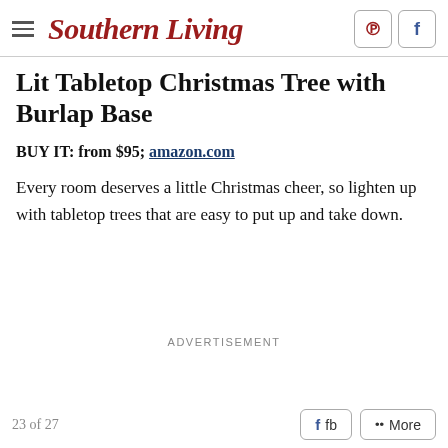Southern Living
Lit Tabletop Christmas Tree with Burlap Base
BUY IT: from $95; amazon.com
Every room deserves a little Christmas cheer, so lighten up with tabletop trees that are easy to put up and take down.
ADVERTISEMENT
23 of 27